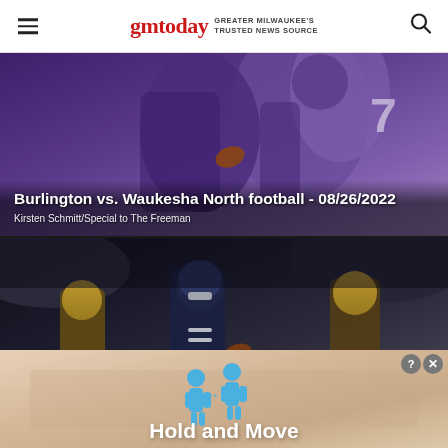gmtoday GREATER MILWAUKEE'S TRUSTED NEWS SOURCE
[Figure (photo): Football game photo showing players in purple jerseys (Burlington vs Waukesha North), overlaid with article title and byline]
Burlington vs. Waukesha North football - 08/26/2022
Kirsten Schmitt/Special to The Freeman
[Figure (photo): Football game photo showing players in dark navy and gold jerseys (Brookfield East vs Racine Case), overlaid with article title and byline]
Brookfield East vs. Racine Case football - 08/26/2022
Kenny Yoo/Special to The Freeman
[Figure (infographic): Advertisement banner showing two human figure icons in blue and text 'Hold and Move' on a tan/peach background, with close buttons in top right]